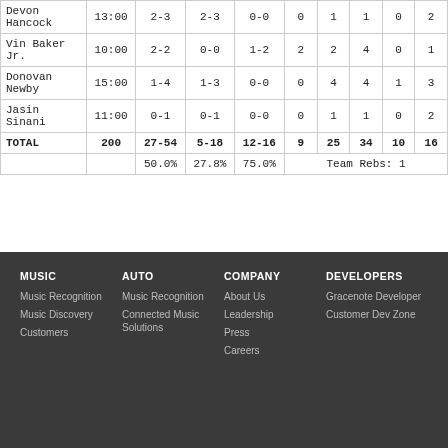|  |  |  |  |  |  |  |  |  |  |
| --- | --- | --- | --- | --- | --- | --- | --- | --- | --- |
| Devon Hancock | 13:00 | 2-3 | 2-3 | 0-0 | 0 | 1 | 1 | 0 | 2 |
| Vin Baker Jr. | 10:00 | 2-2 | 0-0 | 1-2 | 2 | 2 | 4 | 0 | 1 |
| Donovan Newby | 15:00 | 1-4 | 1-3 | 0-0 | 0 | 4 | 4 | 1 | 3 |
| Jasin Sinani | 11:00 | 0-1 | 0-1 | 0-0 | 0 | 1 | 1 | 0 | 2 |
| TOTAL | 200 | 27-54 | 5-18 | 12-16 | 9 | 25 | 34 | 10 | 16 |
|  |  | 50.0% | 27.8% | 75.0% | Team Rebs: 1 |  |  |  |  |
MUSIC
Music Recognition
Music Discovery
Customers
AUTO
Music Recognition
Connected Music Solutions
COMPANY
About Us
Leadership
Press
Careers
DEVELOPERS
Gracenote Developer
Customer Dev Zone